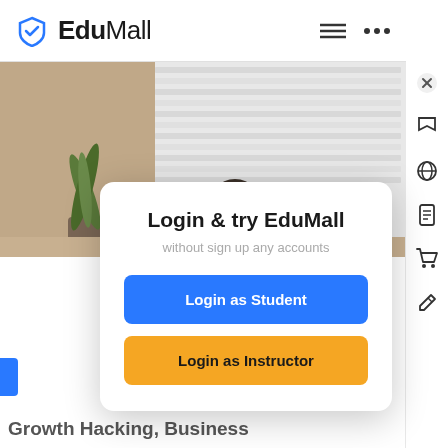EduMall
[Figure (screenshot): Background image showing a person at a desk near a window with blinds and a plant, partially visible behind the modal dialog]
Login & try EduMall
without sign up any accounts
Login as Student
Login as Instructor
Growth Hacking, Business